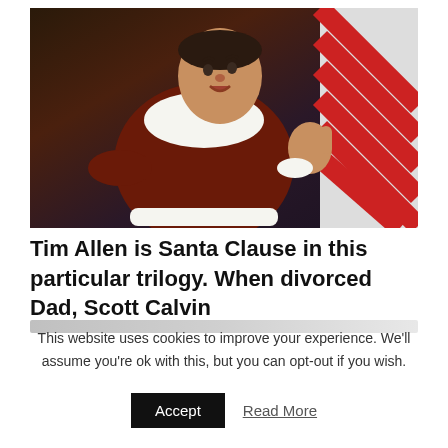[Figure (photo): Tim Allen dressed in a Santa Claus robe with white fur trim, looking surprised, with a candy cane striped background element visible]
Tim Allen is Santa Clause in this particular trilogy. When divorced Dad, Scott Calvin
This website uses cookies to improve your experience. We'll assume you're ok with this, but you can opt-out if you wish.
Accept   Read More